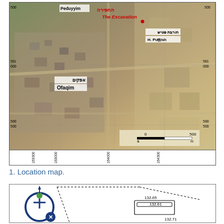[Figure (map): Aerial location map showing the excavation site (החפירה / The Excavation) near Ofaqim (אפקים) and H. Puttish (חורבת פטיש), with coordinate grid and scale bar. Labeled places: Peduyyim (top left), The Excavation (red), H. Puttish (top right area), Ofaqim (center). Coordinate labels on edges: 500, 581/000, 580/500 on left/right; 163/000, 163/300, 164/000, 164/300 on bottom.]
1. Location map.
[Figure (engineering-diagram): Archaeological site plan / excavation diagram with north arrow/compass logo on left and dashed lines indicating excavation area boundary. Measurements shown: 132.65, 132.61, 132.71.]